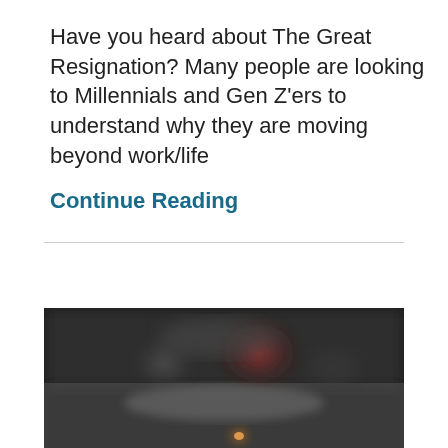Have you heard about The Great Resignation? Many people are looking to Millennials and Gen Z'ers to understand why they are moving beyond work/life
Continue Reading
[Figure (photo): A blurred street scene at night or dusk, dark background with bokeh lights, a small illuminated object visible in the lower center of the frame.]